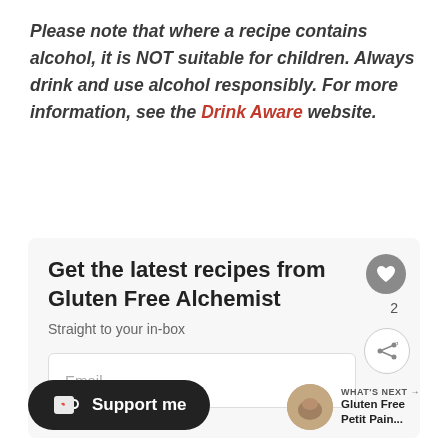Please note that where a recipe contains alcohol, it is NOT suitable for children. Always drink and use alcohol responsibly. For more information, see the Drink Aware website.
Get the latest recipes from Gluten Free Alchemist
Straight to your in-box
Email
Support me
WHAT'S NEXT → Gluten Free Petit Pain...